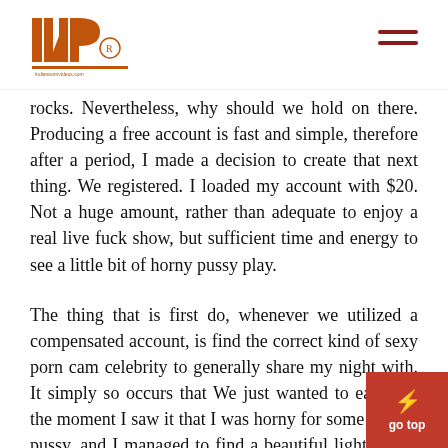INP logo and navigation
rocks. Nevertheless, why should we hold on there. Producing a free account is fast and simple, therefore after a period, I made a decision to create that next thing. We registered. I loaded my account with $20. Not a huge amount, rather than adequate to enjoy a real live fuck show, but sufficient time and energy to see a little bit of horny pussy play.
The thing that is first do, whenever we utilized a compensated account, is find the correct kind of sexy porn cam celebrity to generally share my night with. It simply so occurs that We just wanted to eat from the moment I saw it that I was horny for some blonde pussy, and I managed to find a beautiful light haired honey with great tits and ass. It absolutely was happy that i discovered her therefore